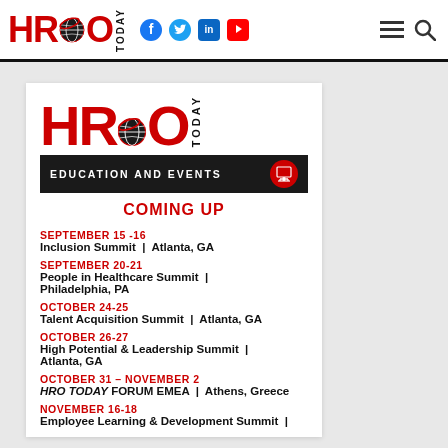HRO TODAY — navigation bar with social icons
[Figure (logo): HRO Today Education and Events logo with globe graphic and black banner reading EDUCATION AND EVENTS]
COMING UP
SEPTEMBER 15-16 — Inclusion Summit | Atlanta, GA
SEPTEMBER 20-21 — People in Healthcare Summit | Philadelphia, PA
OCTOBER 24-25 — Talent Acquisition Summit | Atlanta, GA
OCTOBER 26-27 — High Potential & Leadership Summit | Atlanta, GA
OCTOBER 31 – NOVEMBER 2 — HRO TODAY FORUM EMEA | Athens, Greece
NOVEMBER 16-18 — Employee Learning & Development Summit |